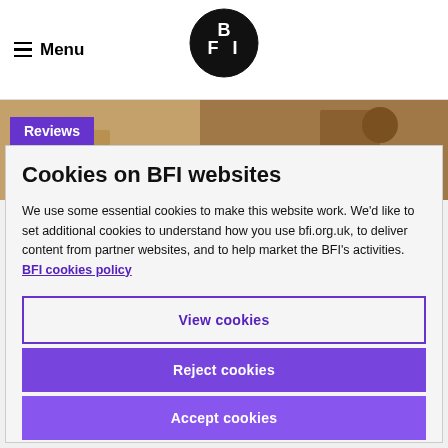Menu | BFI
[Figure (photo): BFI website banner showing a outdoor scene with people, with a purple 'Reviews' badge overlay]
Cookies on BFI websites
We use some essential cookies to make this website work. We'd like to set additional cookies to understand how you use bfi.org.uk, to deliver content from partner websites, and to help market the BFI's activities. BFI cookies policy
View cookies
Reject cookies
Accept cookies